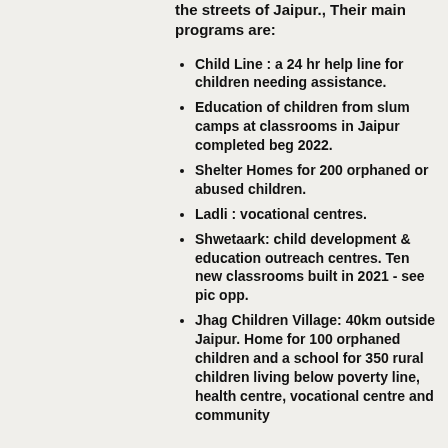the streets of Jaipur., Their main programs are:
Child Line : a 24 hr help line for children needing assistance.
Education of children from slum camps at classrooms in Jaipur completed beg 2022.
Shelter Homes for 200 orphaned or abused children.
Ladli : vocational centres.
Shwetaark: child development & education outreach centres. Ten new classrooms built in 2021 - see pic opp.
Jhag Children Village: 40km outside Jaipur. Home for 100 orphaned children and a school for 350 rural children living below poverty line, health centre, vocational centre and community